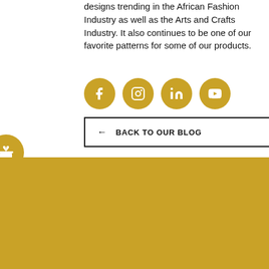designs trending in the African Fashion Industry as well as the Arts and Crafts Industry. It also continues to be one of our favorite patterns for some of our products.
[Figure (other): Four gold circular social media icons: Facebook, Instagram, LinkedIn, YouTube]
[Figure (other): Gold circular gift/reward badge on left edge]
← BACK TO OUR BLOG
[Figure (logo): White circular star/reward badge on left edge of gold section]
[Figure (logo): Africoast Patterns circular logo with dark background, gold AP letters and Africa map, text reading AFRICOAST PATTERNS with stars]